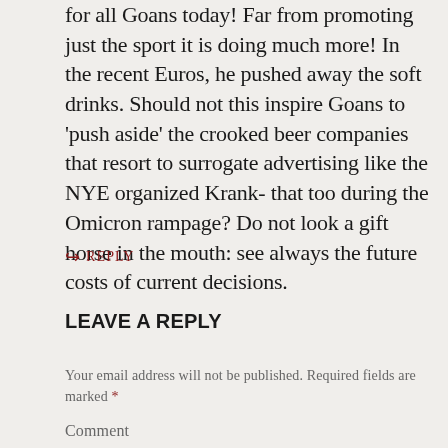for all Goans today! Far from promoting just the sport it is doing much more! In the recent Euros, he pushed away the soft drinks. Should not this inspire Goans to 'push aside' the crooked beer companies that resort to surrogate advertising like the NYE organized Krank- that too during the Omicron rampage? Do not look a gift horse in the mouth: see always the future costs of current decisions.
↳ REPLY
LEAVE A REPLY
Your email address will not be published. Required fields are marked *
Comment